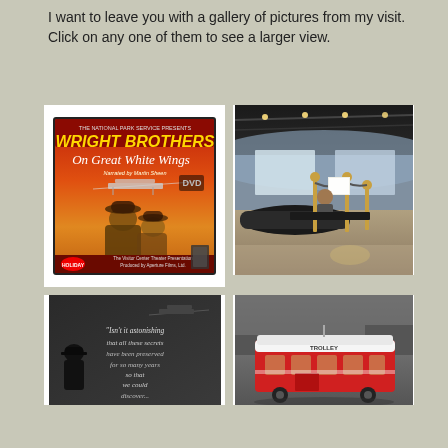I want to leave you with a gallery of pictures from my visit. Click on any one of them to see a larger view.
[Figure (photo): DVD cover for 'Wright Brothers On Great White Wings' narrated by Martin Sheen, showing the Wright Brothers and an early airplane]
[Figure (photo): Museum interior showing an exhibit hall with rope barriers, a person behind a counter, and large display screens in the background]
[Figure (photo): Wall display with text reading 'Isn't it astonishing that all these secrets have been preserved for so many years so that we could discover them!']
[Figure (photo): Model or display of a vintage red and white trolley/streetcar]